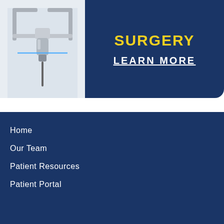[Figure (photo): Surgical robotic drill/instrument on light background]
SURGERY
LEARN MORE
Home
Our Team
Patient Resources
Patient Portal